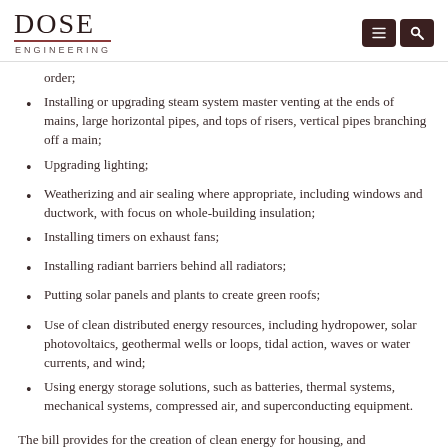DOSE ENGINEERING
order;
Installing or upgrading steam system master venting at the ends of mains, large horizontal pipes, and tops of risers, vertical pipes branching off a main;
Upgrading lighting;
Weatherizing and air sealing where appropriate, including windows and ductwork, with focus on whole-building insulation;
Installing timers on exhaust fans;
Installing radiant barriers behind all radiators;
Putting solar panels and plants to create green roofs;
Use of clean distributed energy resources, including hydropower, solar photovoltaics, geothermal wells or loops, tidal action, waves or water currents, and wind;
Using energy storage solutions, such as batteries, thermal systems, mechanical systems, compressed air, and superconducting equipment.
The bill provides for the creation of clean energy for housing, and...